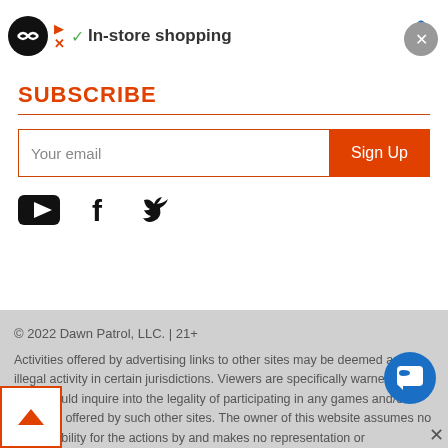[Figure (screenshot): Ad banner with logo, checkmark, 'In-store shopping' text, navigation arrow icon, and close button]
SUBSCRIBE
[Figure (screenshot): Email subscription form with 'Your email' input field and orange 'Sign Up' button]
[Figure (screenshot): Social media icons: YouTube, Facebook, Twitter]
© 2022 Dawn Patrol, LLC. | 21+
Activities offered by advertising links to other sites may be deemed an illegal activity in certain jurisdictions. Viewers are specifically warned that they should inquire into the legality of participating in any games and/or activities offered by such other sites. The owner of this website assumes no responsibility for the actions by and makes no representation or endorsement of any of these games and/or activities offered by the advertiser. As a condition of viewing this website viewers agree to hold the owner of this website harmless from any claims arising from the viewer's participation in any of the games and/or activities offered by the a